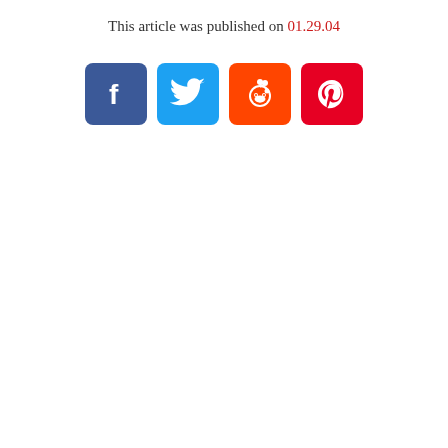This article was published on 01.29.04
[Figure (other): Four social media share buttons: Facebook (blue), Twitter (light blue), Reddit (orange), Pinterest (red)]